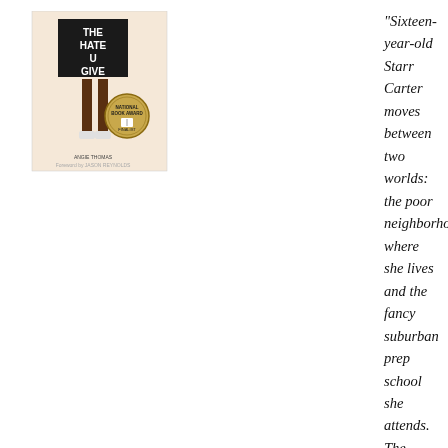[Figure (illustration): Book cover of 'The Hate U Give' showing a figure with legs visible below the title text, with a National Book Award finalist badge]
“Sixteen-year-old Starr Carter moves between two worlds: the poor neighborhood where she lives and the fancy suburban prep school she attends. The uneasy balance between these worlds is shattered when Starr witnesses the fatal shooting of her childhood best friend Khalil at the hands of a police officer.” Continue reading the GoodReads Synopsis
At my very first writers conference in September, many people mentioned The Hate U Give by Angie Thomas as an excellent book by a POC (person of color) writer with a story that demands authenticity (all stories do, but inauthentic stories about a POC experience have a tendency to aggravate and perpetuate biases). I’m